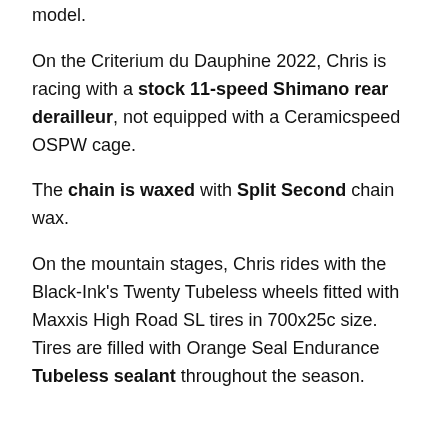model.
On the Criterium du Dauphine 2022, Chris is racing with a stock 11-speed Shimano rear derailleur, not equipped with a Ceramicspeed OSPW cage.
The chain is waxed with Split Second chain wax.
On the mountain stages, Chris rides with the Black-Ink's Twenty Tubeless wheels fitted with Maxxis High Road SL tires in 700x25c size. Tires are filled with Orange Seal Endurance Tubeless sealant throughout the season.